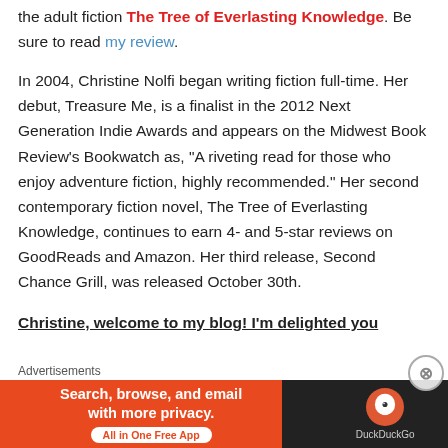the adult fiction The Tree of Everlasting Knowledge. Be sure to read my review.
In 2004, Christine Nolfi began writing fiction full-time. Her debut, Treasure Me, is a finalist in the 2012 Next Generation Indie Awards and appears on the Midwest Book Review's Bookwatch as, "A riveting read for those who enjoy adventure fiction, highly recommended." Her second contemporary fiction novel, The Tree of Everlasting Knowledge, continues to earn 4- and 5-star reviews on GoodReads and Amazon. Her third release, Second Chance Grill, was released October 30th.
Christine, welcome to my blog! I'm delighted you
[Figure (other): DuckDuckGo advertisement banner: Search, browse, and email with more privacy. All in One Free App. DuckDuckGo logo on dark background.]